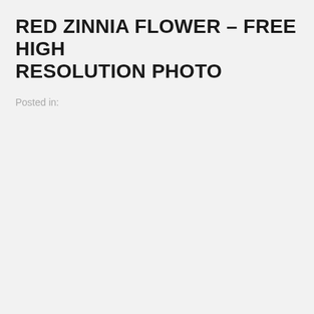RED ZINNIA FLOWER – FREE HIGH RESOLUTION PHOTO
Posted in: